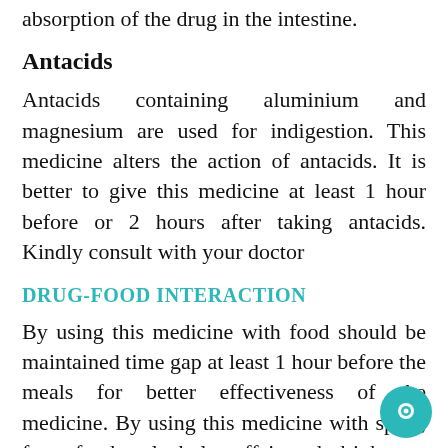absorption of the drug in the intestine.
Antacids
Antacids containing aluminium and magnesium are used for indigestion. This medicine alters the action of antacids. It is better to give this medicine at least 1 hour before or 2 hours after taking antacids. Kindly consult with your doctor
DRUG-FOOD INTERACTION
By using this medicine with food should be maintained time gap at least 1 hour before the meals for better effectiveness of the medicine. By using this medicine with spicy, fatty foods, alcohol, caffeinated drinks, or beverages such coffee, tea, cola, etc, should be avoided for better